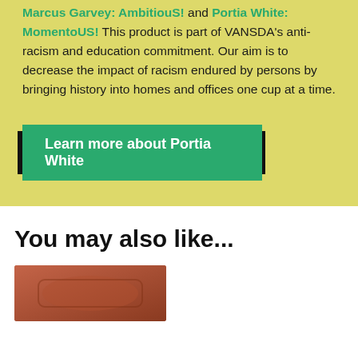Marcus Garvey: AmbitiouS! and Portia White: MomentoUS! This product is part of VANSDA's anti- racism and education commitment. Our aim is to decrease the impact of racism endured by persons by bringing history into homes and offices one cup at a time.
Learn more about Portia White
You may also like...
[Figure (photo): Partial view of a brown/reddish product (mug or similar item) at the bottom of the page]